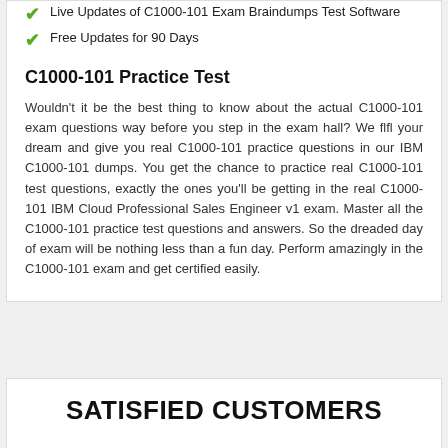Live Updates of C1000-101 Exam Braindumps Test Software
Free Updates for 90 Days
C1000-101 Practice Test
Wouldn't it be the best thing to know about the actual C1000-101 exam questions way before you step in the exam hall? We flfl your dream and give you real C1000-101 practice questions in our IBM C1000-101 dumps. You get the chance to practice real C1000-101 test questions, exactly the ones you'll be getting in the real C1000-101 IBM Cloud Professional Sales Engineer v1 exam. Master all the C1000-101 practice test questions and answers. So the dreaded day of exam will be nothing less than a fun day. Perform amazingly in the C1000-101 exam and get certified easily.
SATISFIED CUSTOMERS